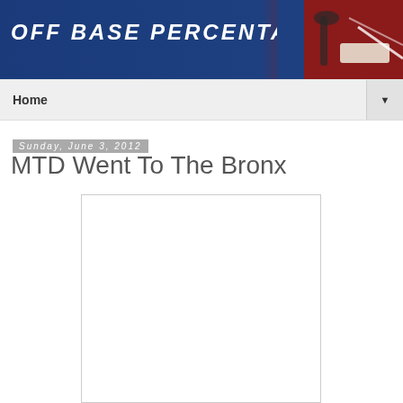OFF BASE PERCENTAGE
Home
Sunday, June 3, 2012
MTD Went To The Bronx
[Figure (photo): White rectangular image placeholder below the post title]